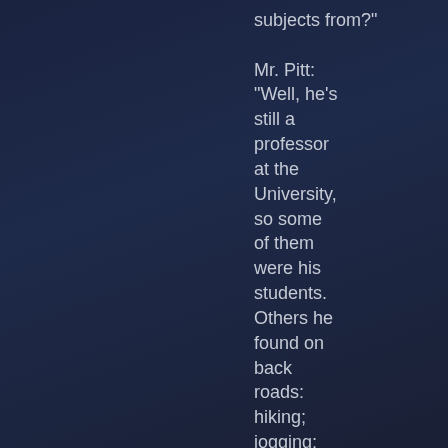subjects from?"

Mr. Pitt: “Well, he’s still a professor at the University, so some of them were his students. Others he found on back roads: hiking; jogging; biking or whatever.